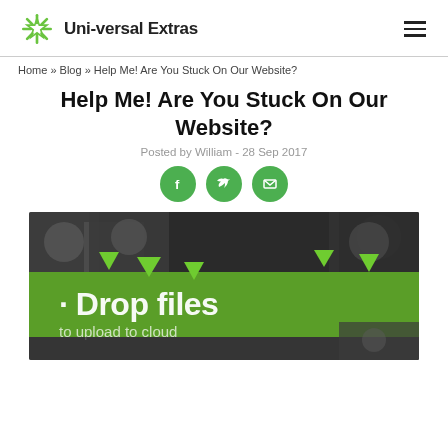Uni-versal Extras
Home » Blog » Help Me! Are You Stuck On Our Website?
Help Me! Are You Stuck On Our Website?
Posted by William - 28 Sep 2017
[Figure (other): Social sharing icons: Facebook, Twitter, Email — green circles with white icons]
[Figure (photo): Hero image showing a green banner reading 'Drop files to upload' with green arrows pointing down, overlaid on a blurred background of people]